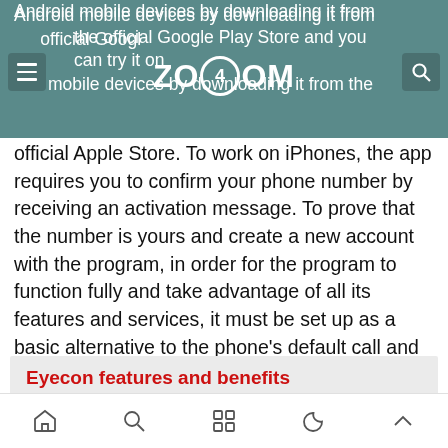Android mobile devices by downloading it from the official Google Play Store and you can try it on iOS mobile devices by downloading it from the
official Apple Store. To work on iPhones, the app requires you to confirm your phone number by receiving an activation message. To prove that the number is yours and create a new account with the program, in order for the program to function fully and take advantage of all its features and services, it must be set up as a basic alternative to the phone's default call and contact management application.
Eyecon features and benefits